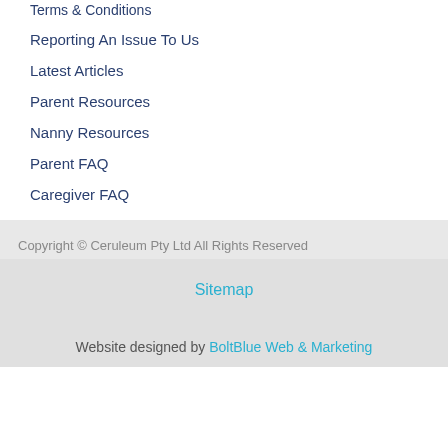Terms & Conditions
Reporting An Issue To Us
Latest Articles
Parent Resources
Nanny Resources
Parent FAQ
Caregiver FAQ
Copyright © Ceruleum Pty Ltd All Rights Reserved
Sitemap
Website designed by BoltBlue Web & Marketing